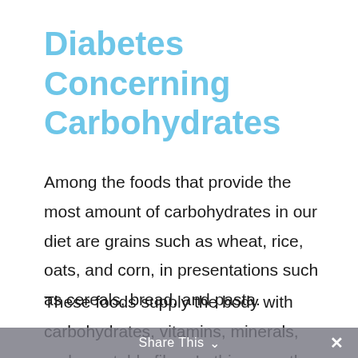Diabetes Concerning Carbohydrates
Among the foods that provide the most amount of carbohydrates in our diet are grains such as wheat, rice, oats, and corn, in presentations such as cereals, bread, and pasta.
These foods supply the body with carbohydrates, vitamins, minerals, and vegetable fiber. In this case, the choice of
Share This ∨  ×